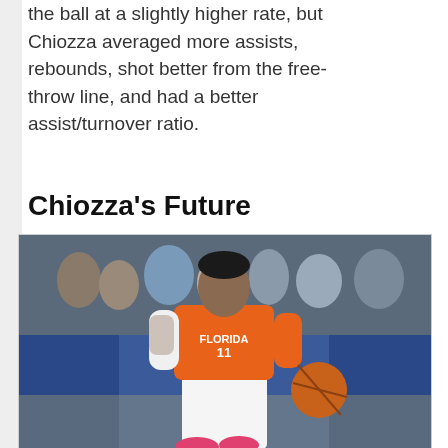the ball at a slightly higher rate, but Chiozza averaged more assists, rebounds, shot better from the free-throw line, and had a better assist/turnover ratio.
Chiozza's Future
[Figure (photo): Basketball player wearing Florida Gators #11 orange jersey dribbling the ball, with blue arena seating visible in the background and crowd behind him.]